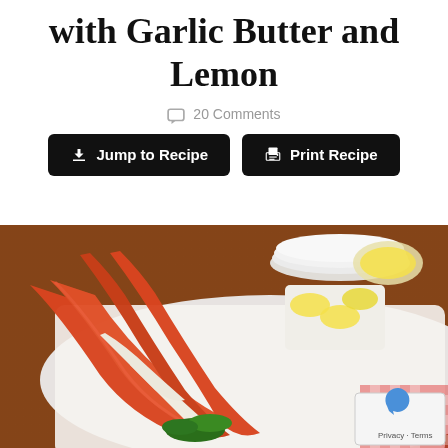with Garlic Butter and Lemon
20 Comments
Jump to Recipe
Print Recipe
[Figure (photo): King crab legs arranged on a white rectangular plate, with lemon wedges on a side plate, a bowl of yellow butter sauce, stacked white plates in the background, and parsley garnish. Red-orange crab legs dominate the foreground on a wooden table surface.]